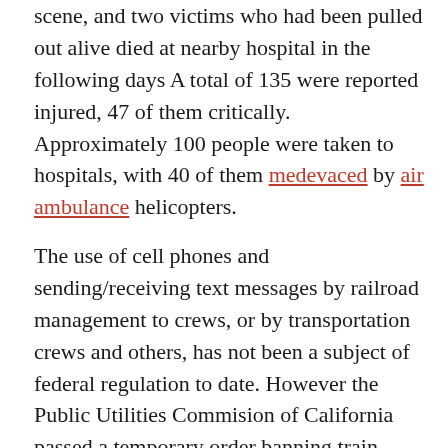scene, and two victims who had been pulled out alive died at nearby hospital in the following days A total of 135 were reported injured, 47 of them critically. Approximately 100 people were taken to hospitals, with 40 of them medevaced by air ambulance helicopters.
The use of cell phones and sending/receiving text messages by railroad management to crews, or by transportation crews and others, has not been a subject of federal regulation to date. However the Public Utilities Commision of California passed a temporary order banning train operators from using cell phones on duty (in September 2008) in response to the Chatsworth-Metrolink-UP train crash disaster. The order came one day after investigators